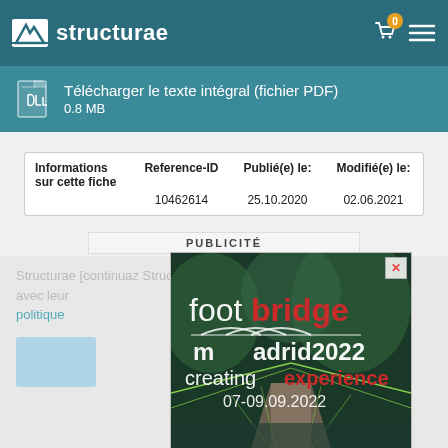Structurae — logo and navigation header
Télécharger le texte intégral (fichier PDF) — 0.8 MB
| Informations sur cette fiche | Reference-ID | Publié(e) le: | Modifié(e) le: |
| --- | --- | --- | --- |
|  | 10462614 | 25.10.2020 | 02.06.2021 |
PUBLICITÉ
[Figure (photo): Footbridge Madrid 2022 conference advertisement showing a suspension bridge with text: foot bridge, madrid2022, creating experience, 07-09.09.2022]
Structurae [partially obscured text] continua... Structurae... avec le... politique...